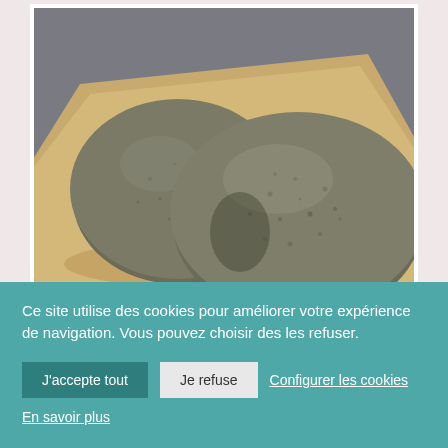[Figure (photo): Close-up photograph of two round bread loaves with a grey-green crust on a light wooden surface, seen from above at a slight angle.]
Ce site utilise des cookies pour améliorer votre expérience de navigation. Vous pouvez choisir des les refuser.
J'accepte tout
Je refuse
Configurer les cookies
En savoir plus